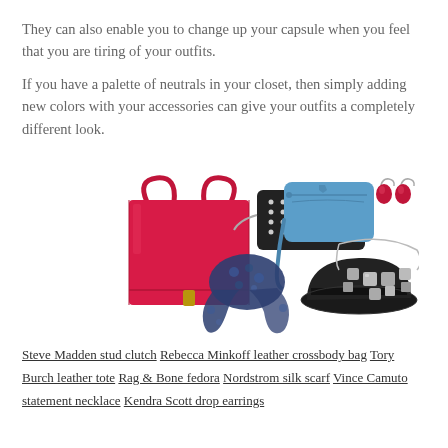They can also enable you to change up your capsule when you feel that you are tiring of your outfits.
If you have a palette of neutrals in your closet, then simply adding new colors with your accessories can give your outfits a completely different look.
[Figure (photo): A collage of fashion accessories including a red leather tote bag, black studded clutch, blue leather crossbody bag, red drop earrings, navy floral silk scarf, black fedora hat, and a silver statement necklace.]
Steve Madden stud clutch Rebecca Minkoff leather crossbody bag Tory Burch leather tote Rag & Bone fedora Nordstrom silk scarf Vince Camuto statement necklace Kendra Scott drop earrings